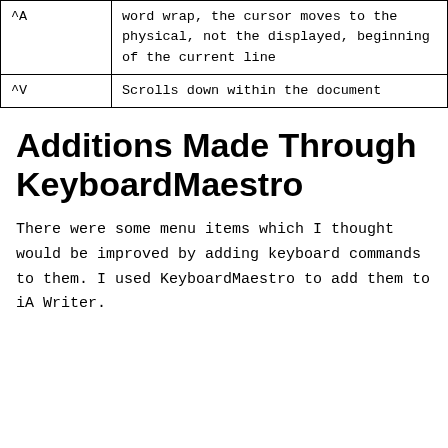| Key | Description |
| --- | --- |
| ^A | word wrap, the cursor moves to the physical, not the displayed, beginning of the current line |
| ^V | Scrolls down within the document |
Additions Made Through KeyboardMaestro
There were some menu items which I thought would be improved by adding keyboard commands to them. I used KeyboardMaestro to add them to iA Writer.